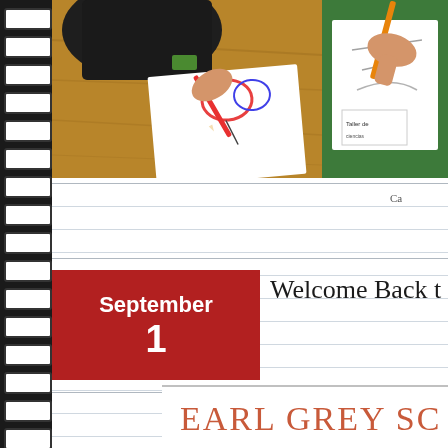[Figure (photo): Two photos of children drawing/coloring at a desk with paper and pencils. Left photo shows a child from above using a red pencil over colorful drawings on a wood surface. Right photo shows a hand holding an orange pencil over paper on a green surface, with a label reading 'Taller de...']
Ca
September
1
Welcome Back t
EARL GREY SC